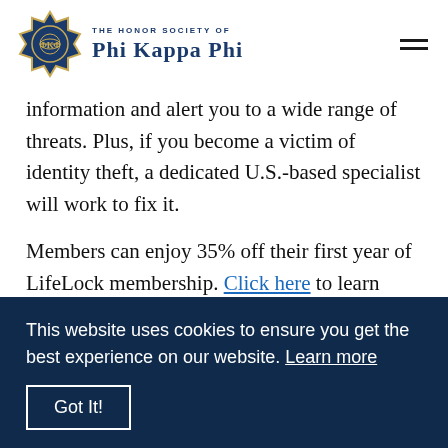THE HONOR SOCIETY OF PHI KAPPA PHI
information and alert you to a wide range of threats. Plus, if you become a victim of identity theft, a dedicated U.S.-based specialist will work to fix it.
Members can enjoy 35% off their first year of LifeLock membership. Click here to learn more and enroll in minutes.
This website uses cookies to ensure you get the best experience on our website. Learn more
Got It!